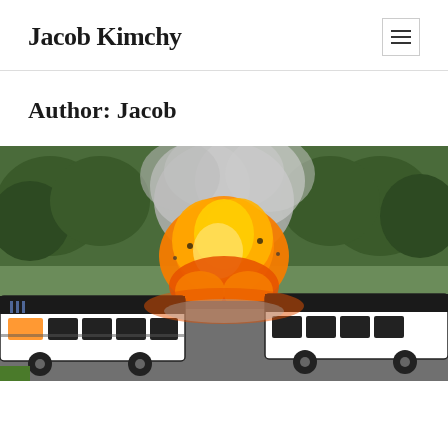Jacob Kimchy
Author: Jacob
[Figure (photo): A dramatic explosion engulfing two buses on a road, with large orange and yellow flames and billowing smoke rising above, surrounded by green trees in the background.]